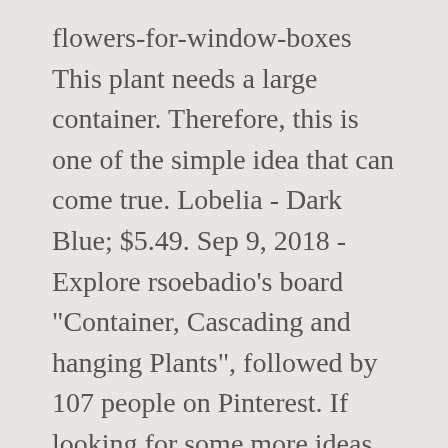flowers-for-window-boxes This plant needs a large container. Therefore, this is one of the simple idea that can come true. Lobelia - Dark Blue; $5.49. Sep 9, 2018 - Explore rsoebadio's board "Container, Cascading and hanging Plants", followed by 107 people on Pinterest. If looking for some more ideas, try below samples. Nemesia flowers are two-lipped; the upper carries four lobes, and the lower carries two. Creeping Phlox. Be sure to plant them consistently to get a well-balanced window box. cascading plants. To put it simply, they have trailing stems and elongated structures which make them very suitable choices for window boxes and hanging pots. Our self-watering hanging planters and hanging pots are